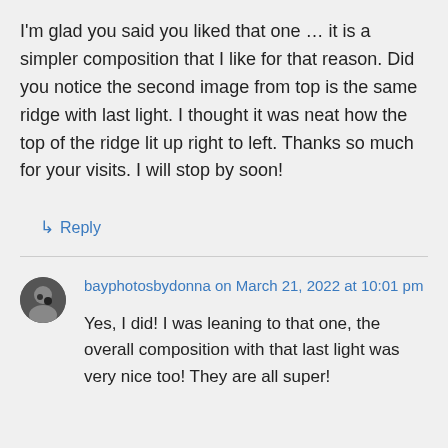I'm glad you said you liked that one … it is a simpler composition that I like for that reason. Did you notice the second image from top is the same ridge with last light. I thought it was neat how the top of the ridge lit up right to left. Thanks so much for your visits. I will stop by soon!
↳ Reply
bayphotosbydonna on March 21, 2022 at 10:01 pm
Yes, I did! I was leaning to that one, the overall composition with that last light was very nice too! They are all super!